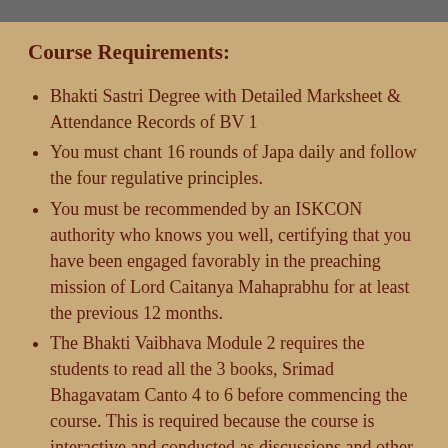Course Requirements:
Bhakti Sastri Degree with Detailed Marksheet & Attendance Records of BV 1
You must chant 16 rounds of Japa daily and follow the four regulative principles.
You must be recommended by an ISKCON authority who knows you well, certifying that you have been engaged favorably in the preaching mission of Lord Caitanya Mahaprabhu for at least the previous 12 months.
The Bhakti Vaibhava Module 2 requires the students to read all the 3 books, Srimad Bhagavatam Canto 4 to 6 before commencing the course. This is required because the course is interactive and conducted as discussions and other